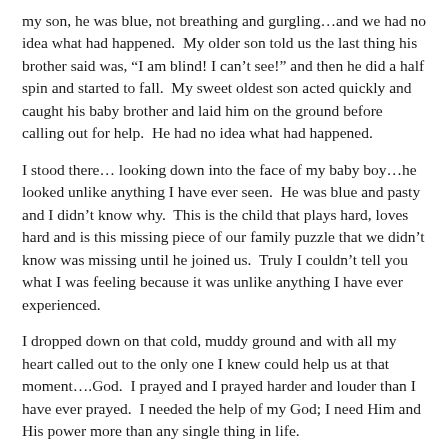my son, he was blue, not breathing and gurgling…and we had no idea what had happened.  My older son told us the last thing his brother said was, “I am blind! I can’t see!” and then he did a half spin and started to fall.  My sweet oldest son acted quickly and caught his baby brother and laid him on the ground before calling out for help.  He had no idea what had happened.
I stood there… looking down into the face of my baby boy…he looked unlike anything I have ever seen.  He was blue and pasty and I didn’t know why.  This is the child that plays hard, loves hard and is this missing piece of our family puzzle that we didn’t know was missing until he joined us.  Truly I couldn’t tell you what I was feeling because it was unlike anything I have ever experienced.
I dropped down on that cold, muddy ground and with all my heart called out to the only one I knew could help us at that moment….God.  I prayed and I prayed harder and louder than I have ever prayed.  I needed the help of my God; I need Him and His power more than any single thing in life.
After trying to determine if my son had received an injury my husband grabbed him up and began to run out of the woods.  As he